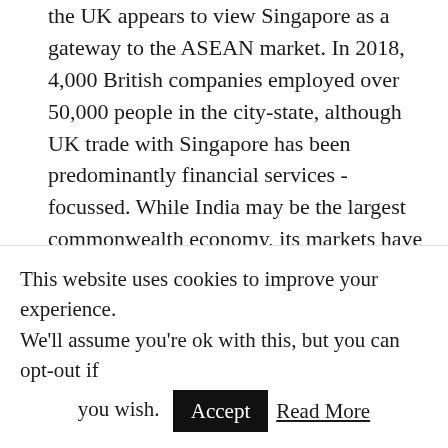the UK appears to view Singapore as a gateway to the ASEAN market. In 2018, 4,000 British companies employed over 50,000 people in the city-state, although UK trade with Singapore has been predominantly financial services -focussed. While India may be the largest commonwealth economy, its markets have high barriers to entry and their leadership have expressed ambivalent attitudes towards trade deals with non-Asian markets. India's tariffs on whisky, access to legal and insurance markets, and restrictions on work visas pose the largest hurdles in the way of
This website uses cookies to improve your experience. We'll assume you're ok with this, but you can opt-out if you wish. Accept Read More